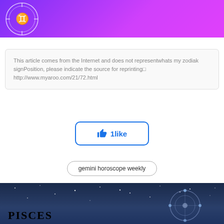[Figure (illustration): Purple/violet gradient banner with a zodiac gemini symbol circle on the left side]
This article comes from the Internet and does not representwhats my zodiak signPosition, please indicate the source for reprinting□ http://www.myaroo.com/21/72.html
👍 1like
gemini horoscope weekly
[Figure (photo): Dark blue night sky with stars background and a zodiac wheel/constellation diagram, with 'PISCES' text at the bottom left]